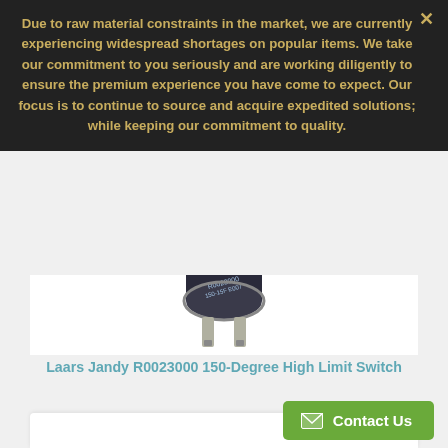Due to raw material constraints in the market, we are currently experiencing widespread shortages on popular items. We take our commitment to you seriously and are working diligently to ensure the premium experience you have come to expect. Our focus is to continue to source and acquire expedited solutions; while keeping our commitment to quality.
[Figure (photo): Photo of a Laars Jandy R0023000 150-Degree High Limit Switch component — a small cylindrical electrical switch with metal prongs/pins at the bottom]
Laars Jandy R0023000 150-Degree High Limit Switch
$ 31.19
Contact Us